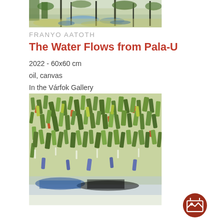[Figure (photo): Painting of a forest/wetland scene with dark tree trunks, blue water reflections, and green foliage in a loose expressionist oil painting style.]
FRANYO AATOTH
The Water Flows from Pala-U
2022 - 60x60 cm
oil, canvas
In the Várfok Gallery
[Figure (photo): Painting of dense green tropical vegetation with orange and blue accents, rendered in a gestural expressionist oil painting style.]
[Figure (other): Dark red circular gallery icon button with a picture/image symbol inside.]